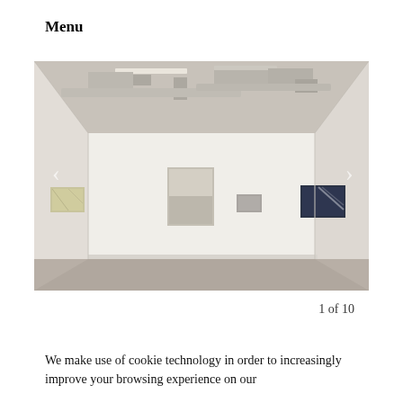Menu
[Figure (photo): Interior view of an art gallery with white walls, industrial ceiling with exposed beams and fluorescent lighting. Four paintings are hung on the walls: a small yellowish painting on the far left wall, a larger neutral-toned painting in the center, a small grey painting to the right of center, and a dark navy blue painting on the far right. The floor is a muted grey-beige concrete. Navigation arrows are visible on the left and right edges of the image.]
1 of 10
We make use of cookie technology in order to increasingly improve your browsing experience on our